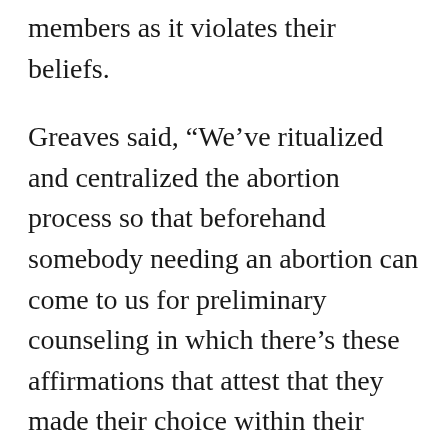members as it violates their beliefs.
Greaves said, “We’ve ritualized and centralized the abortion process so that beforehand somebody needing an abortion can come to us for preliminary counseling in which there’s these affirmations that attest that they made their choice within their understanding of the best available options and that this is the right choice for them, and that they did it in line with their religious tenets, which are our own.”
He also said in an interview that there is a